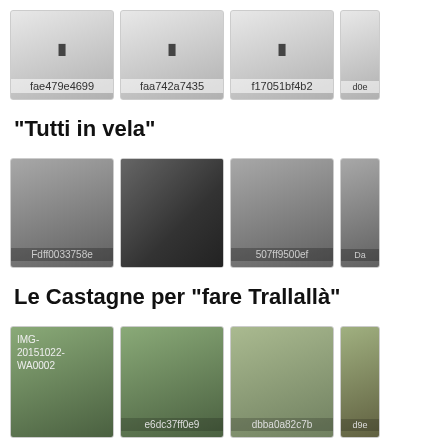[Figure (screenshot): Row of 4 thumbnail images with hash IDs: fae479e4699, faa742a7435, f17051bf4b2, d0e... (partially visible)]
“Tutti in vela”
[Figure (screenshot): Row of 4 thumbnail photos related to 'Tutti in vela': Fdff0033758e, second photo with people in red jackets, 507ff9500ef, Da... (partially visible)]
Le Castagne per “fare Trallallà”
[Figure (screenshot): Row of 4 thumbnail photos related to 'Le Castagne per fare Trallallà': IMG-20151022-WA0002, e6dc37ff0e9, dbba0a82c7b, d9e... (partially visible)]